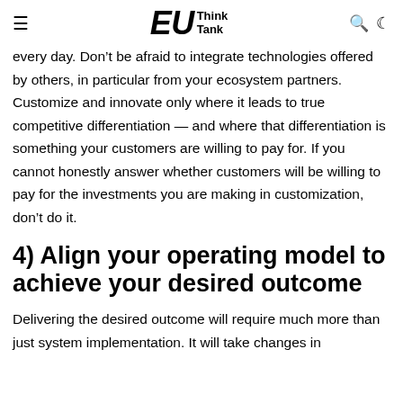EU Think Tank
every day. Don't be afraid to integrate technologies offered by others, in particular from your ecosystem partners. Customize and innovate only where it leads to true competitive differentiation — and where that differentiation is something your customers are willing to pay for. If you cannot honestly answer whether customers will be willing to pay for the investments you are making in customization, don't do it.
4) Align your operating model to achieve your desired outcome
Delivering the desired outcome will require much more than just system implementation. It will take changes in